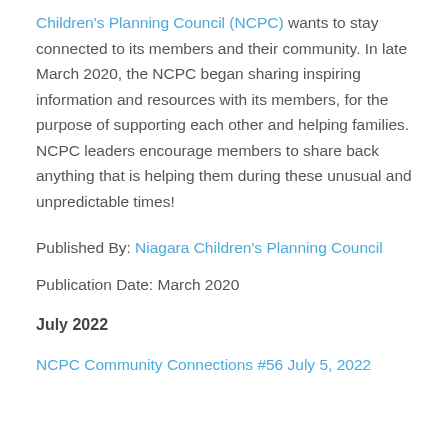Children's Planning Council (NCPC) wants to stay connected to its members and their community. In late March 2020, the NCPC began sharing inspiring information and resources with its members, for the purpose of supporting each other and helping families. NCPC leaders encourage members to share back anything that is helping them during these unusual and unpredictable times!
Published By: Niagara Children's Planning Council
Publication Date: March 2020
July 2022
NCPC Community Connections #56 July 5, 2022